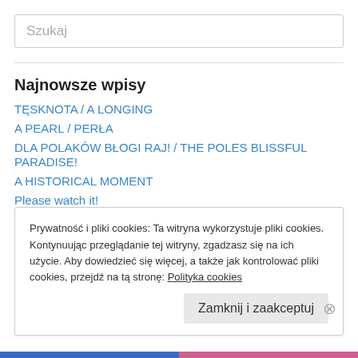Szukaj
Najnowsze wpisy
TĘSKNOTA / A LONGING
A PEARL / PERŁA
DLA POLAKÓW BŁOGI RAJ! / THE POLES BLISSFUL PARADISE!
A HISTORICAL MOMENT
Please watch it!
Prywatność i pliki cookies: Ta witryna wykorzystuje pliki cookies. Kontynuując przeglądanie tej witryny, zgadzasz się na ich użycie. Aby dowiedzieć się więcej, a także jak kontrolować pliki cookies, przejdź na tą stronę: Polityka cookies
Zamknij i zaakceptuj